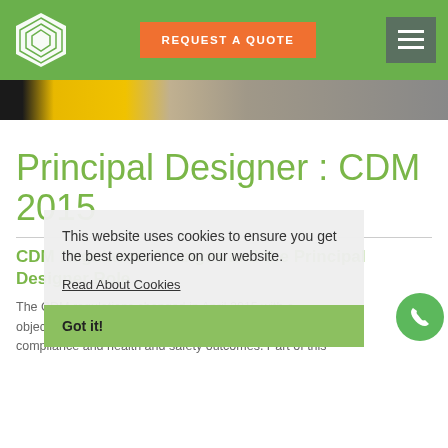REQUEST A QUOTE
[Figure (photo): Hero banner image strip showing yellow and grey tones, partial view of construction/industrial equipment]
Principal Designer : CDM 2015
CDM Regulation Changes and the Principal Designer Role
The CDM regulations changed in April 2015 with a objective to simplify the process to provide improved compliance and health and safety outcomes. Part of this
This website uses cookies to ensure you get the best experience on our website.
Read About Cookies
Got it!